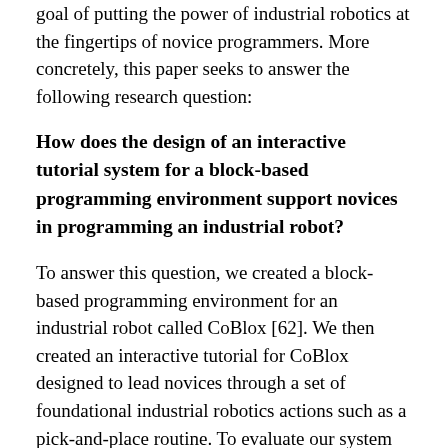goal of putting the power of industrial robotics at the fingertips of novice programmers. More concretely, this paper seeks to answer the following research question:
How does the design of an interactive tutorial system for a block-based programming environment support novices in programming an industrial robot?
To answer this question, we created a block-based programming environment for an industrial robot called CoBlox [62]. We then created an interactive tutorial for CoBlox designed to lead novices through a set of foundational industrial robotics actions such as a pick-and-place routine. To evaluate our system and answer the stated research question, we conducted a user study in which 79 adult novices were trained on CoBlox using either our interactive tutorial system or by watching a short video covering the exact same functionality. Participants were then asked to